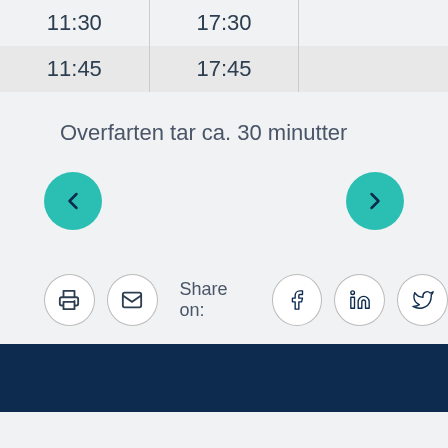|  |  |  |
| --- | --- | --- |
| 11:30 | 17:30 |  |
| 11:45 | 17:45 |  |
Overfarten tar ca. 30 minutter
[Figure (other): Navigation arrows: left chevron button (teal circle) and right chevron button (teal circle)]
Share on:
[Figure (other): Social sharing bar with print, email, Facebook, LinkedIn, and Twitter icon buttons]